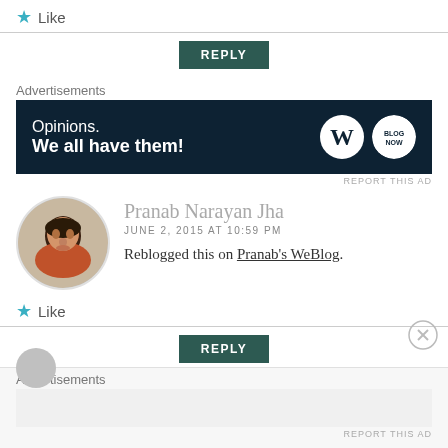★ Like
REPLY
Advertisements
[Figure (screenshot): Dark blue advertisement banner reading 'Opinions. We all have them!' with WordPress logo and circular logo on right.]
REPORT THIS AD
Pranab Narayan Jha
JUNE 2, 2015 AT 10:59 PM
Reblogged this on Pranab's WeBlog.
★ Like
REPLY
Advertisements
REPORT THIS AD